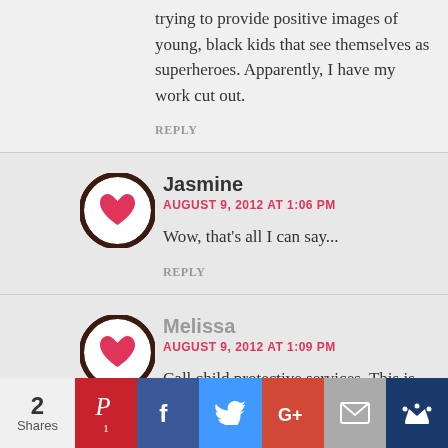trying to provide positive images of young, black kids that see themselves as superheroes. Apparently, I have my work cut out.
REPLY
Jasmine
AUGUST 9, 2012 AT 1:06 PM
Wow, that's all I can say...
REPLY
Melissa
AUGUST 9, 2012 AT 1:09 PM
Call child protective services. This is
2 Shares